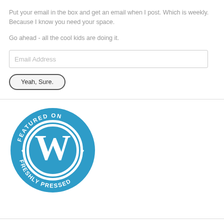Put your email in the box and get an email when I post. Which is weekly. Because I know you need your space.
Go ahead - all the cool kids are doing it.
[Figure (logo): Featured on WordPress Freshly Pressed badge — blue circular badge with WordPress W logo and text 'FEATURED ON FRESHLY PRESSED' around the border with small heart symbols]